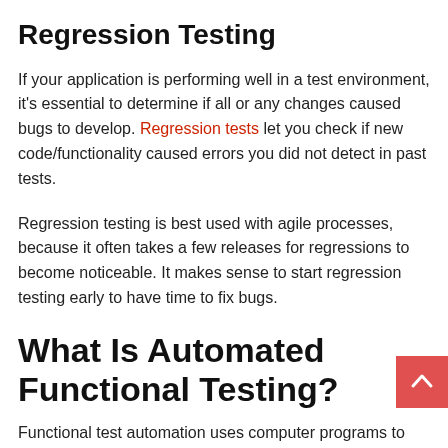Regression Testing
If your application is performing well in a test environment, it's essential to determine if all or any changes caused bugs to develop. Regression tests let you check if new code/functionality caused errors you did not detect in past tests.
Regression testing is best used with agile processes, because it often takes a few releases for regressions to become noticeable. It makes sense to start regression testing early to have time to fix bugs.
What Is Automated Functional Testing?
Functional test automation uses computer programs to